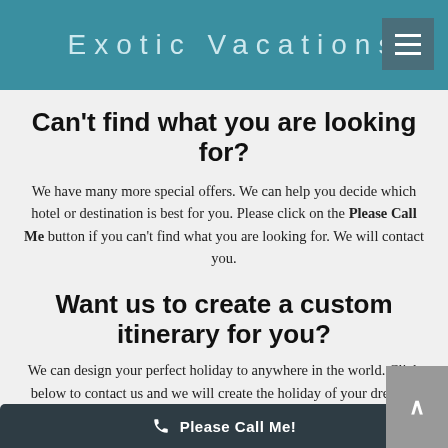Exotic Vacations
Can't find what you are looking for?
We have many more special offers. We can help you decide which hotel or destination is best for you. Please click on the Please Call Me button if you can't find what you are looking for. We will contact you.
Want us to create a custom itinerary for you?
We can design your perfect holiday to anywhere in the world. Click below to contact us and we will create the holiday of your dreams!
Please Call Me!